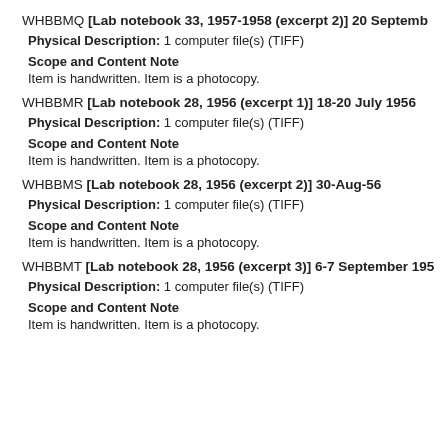WHBBMQ [Lab notebook 33, 1957-1958 (excerpt 2)] 20 September...
Physical Description: 1 computer file(s) (TIFF)
Scope and Content Note
Item is handwritten. Item is a photocopy.
WHBBMR [Lab notebook 28, 1956 (excerpt 1)] 18-20 July 1956...
Physical Description: 1 computer file(s) (TIFF)
Scope and Content Note
Item is handwritten. Item is a photocopy.
WHBBMS [Lab notebook 28, 1956 (excerpt 2)] 30-Aug-56
Physical Description: 1 computer file(s) (TIFF)
Scope and Content Note
Item is handwritten. Item is a photocopy.
WHBBMT [Lab notebook 28, 1956 (excerpt 3)] 6-7 September 195...
Physical Description: 1 computer file(s) (TIFF)
Scope and Content Note
Item is handwritten. Item is a photocopy.